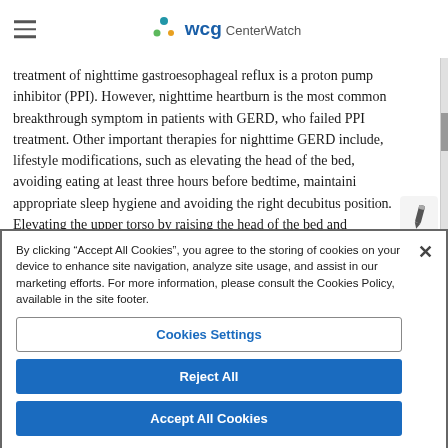WCG CenterWatch
treatment of nighttime gastroesophageal reflux is a proton pump inhibitor (PPI). However, nighttime heartburn is the most common breakthrough symptom in patients with GERD, who failed PPI treatment. Other important therapies for nighttime GERD include, lifestyle modifications, such as elevating the head of the bed, avoiding eating at least three hours before bedtime, maintaining appropriate sleep hygiene and avoiding the right decubitus position. Elevating the upper torso by raising the head of the bed and avoiding the right-lateral decubitus position have been shown to improve
By clicking “Accept All Cookies”, you agree to the storing of cookies on your device to enhance site navigation, analyze site usage, and assist in our marketing efforts. For more information, please consult the Cookies Policy, available in the site footer.
Cookies Settings
Reject All
Accept All Cookies